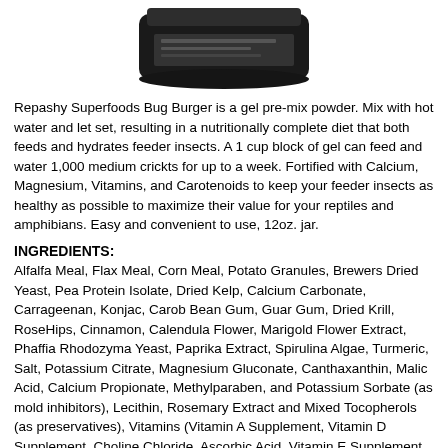[Figure (photo): Black cylindrical jar of Repashy Superfoods Bug Burger product, viewed from above at an angle showing top and label]
Repashy Superfoods Bug Burger is a gel pre-mix powder. Mix with hot water and let set, resulting in a nutritionally complete diet that both feeds and hydrates feeder insects. A 1 cup block of gel can feed and water 1,000 medium crickts for up to a week. Fortified with Calcium, Magnesium, Vitamins, and Carotenoids to keep your feeder insects as healthy as possible to maximize their value for your reptiles and amphibians. Easy and convenient to use, 12oz. jar.
INGREDIENTS:
Alfalfa Meal, Flax Meal, Corn Meal, Potato Granules, Brewers Dried Yeast, Pea Protein Isolate, Dried Kelp, Calcium Carbonate, Carrageenan, Konjac, Carob Bean Gum, Guar Gum, Dried Krill, RoseHips, Cinnamon, Calendula Flower, Marigold Flower Extract, Phaffia Rhodozyma Yeast, Paprika Extract, Spirulina Algae, Turmeric, Salt, Potassium Citrate, Magnesium Gluconate, Canthaxanthin, Malic Acid, Calcium Propionate, Methylparaben, and Potassium Sorbate (as mold inhibitors), Lecithin, Rosemary Extract and Mixed Tocopherols (as preservatives), Vitamins (Vitamin A Supplement, Vitamin D Supplement, Choline Chloride, Ascorbic Acid, Vitamin E Supplement, Niacin, Beta Carotene, Pantothenic Acid, Riboflavin, Pyridoxine Hydrochloride, Thiamine Mononitrate, Menadione Sodium Bisulfite Complex, Folic Acid, Biotin, Vitamin B-12 Supplement).